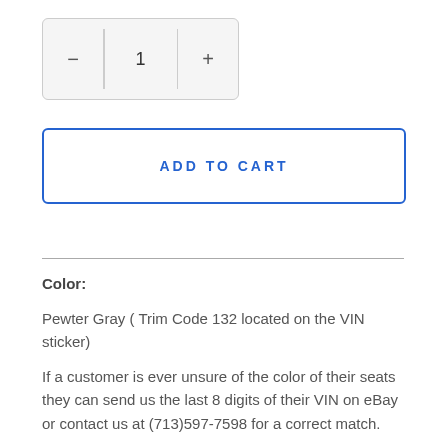[Figure (other): Quantity selector widget showing minus button, value 1, plus button in a bordered box]
ADD TO CART
Color:
Pewter Gray ( Trim Code 132 located on the VIN sticker)
If a customer is ever unsure of the color of their seats they can send us the last 8 digits of their VIN on eBay or contact us at (713)597-7598 for a correct match.